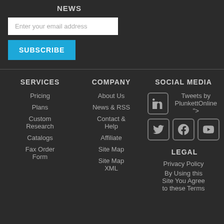NEWS
Enter your email address
SUBSCRIBE
SERVICES
Pricing
Plans
Custom Research
Catalogs
Fax Order Form
COMPANY
About Us
News & RSS
Contact & Help
Affiliate
Site Map
Site Map XML
SOCIAL MEDIA
Tweets by PlunkettOnline ">
LEGAL
Privacy Policy
By Using this Site You Agree to these Terms